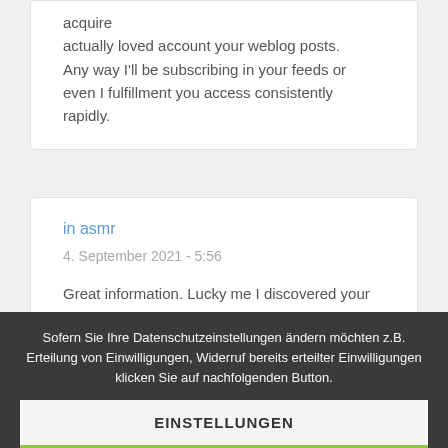acquire actually loved account your weblog posts. Any way I'll be subscribing in your feeds or even I fulfillment you access consistently rapidly.
in asmr
4. September 2021 - 5:56
Great information. Lucky me I discovered your
Sofern Sie Ihre Datenschutzeinstellungen ändern möchten z.B. Erteilung von Einwilligungen, Widerruf bereits erteilter Einwilligungen klicken Sie auf nachfolgenden Button.
EINSTELLUNGEN